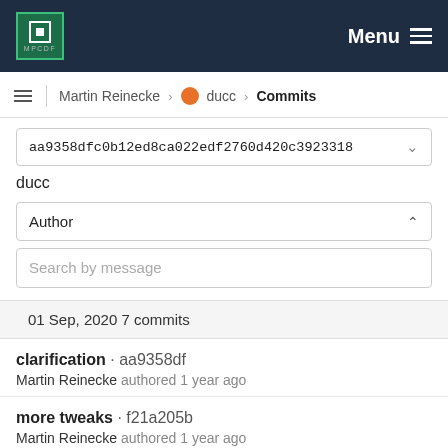MPCDF Menu
Martin Reinecke > ducc > Commits
aa9358dfc0b12ed8ca022edf2760d420c3923318
ducc
Author
Search by message
01 Sep, 2020 7 commits
clarification · aa9358df
Martin Reinecke authored 1 year ago
more tweaks · f21a205b
Martin Reinecke authored 1 year ago